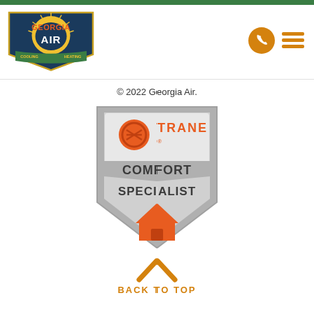[Figure (logo): Georgia Air Cooling and Heating logo — shield shape with dark blue background, yellow sunburst, orange/red text 'GEORGIA AIR', green banners reading 'COOLING' and 'HEATING']
[Figure (logo): Phone icon in orange circle (header navigation)]
[Figure (logo): Hamburger menu icon in orange (header navigation)]
© 2022 Georgia Air.
[Figure (logo): Trane Comfort Specialist badge — silver shield shape with orange Trane logo and text 'COMFORT SPECIALIST' and an orange house silhouette]
BACK TO TOP